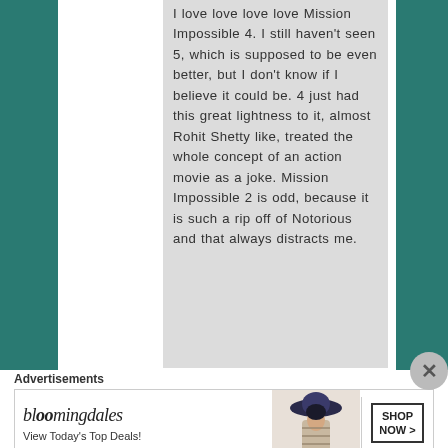I love love love love Mission Impossible 4. I still haven't seen 5, which is supposed to be even better, but I don't know if I believe it could be. 4 just had this great lightness to it, almost Rohit Shetty like, treated the whole concept of an action movie as a joke. Mission Impossible 2 is odd, because it is such a rip off of Notorious and that always distracts me.
Advertisements
[Figure (other): Bloomingdales advertisement banner: logo text 'bloomingdales', tagline 'View Today's Top Deals!', image of woman in wide-brim hat, 'SHOP NOW >' button]